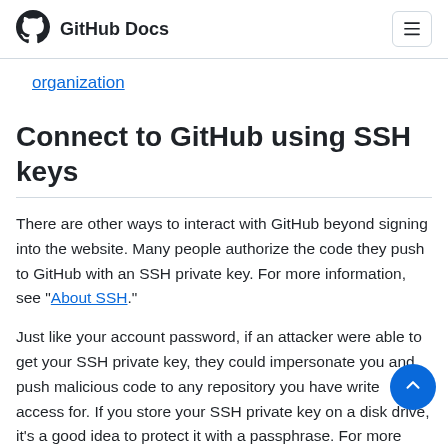GitHub Docs
organization
Connect to GitHub using SSH keys
There are other ways to interact with GitHub beyond signing into the website. Many people authorize the code they push to GitHub with an SSH private key. For more information, see "About SSH."
Just like your account password, if an attacker were able to get your SSH private key, they could impersonate you and push malicious code to any repository you have write access for. If you store your SSH private key on a disk drive, it's a good idea to protect it with a passphrase. For more information, see "Working with SSH key